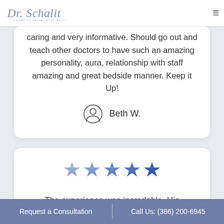Dr. Schalit Cosmetic Facial Specialist
caring and very informative. Should go out and teach other doctors to have such an amazing personality, aura, relationship with staff amazing and great bedside manner. Keep it Up!
Beth W.
[Figure (other): Five gradient stars rating (light blue to dark blue) indicating a 5-star review]
The experience was incredable. His
Request a Consultation | Call Us: (386) 200-6945